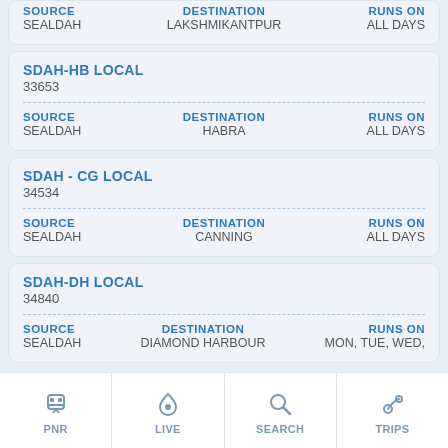| SOURCE | DESTINATION | RUNS ON |
| --- | --- | --- |
| SEALDAH | LAKSHMIKANTPUR | ALL DAYS |
SDAH-HB LOCAL
33653
| SOURCE | DESTINATION | RUNS ON |
| --- | --- | --- |
| SEALDAH | HABRA | ALL DAYS |
SDAH - CG LOCAL
34534
| SOURCE | DESTINATION | RUNS ON |
| --- | --- | --- |
| SEALDAH | CANNING | ALL DAYS |
SDAH-DH LOCAL
34840
| SOURCE | DESTINATION | RUNS ON |
| --- | --- | --- |
| SEALDAH | DIAMOND HARBOUR | MON, TUE, WED, THU, FRI, SUN |
PNR | LIVE | SEARCH | TRIPS